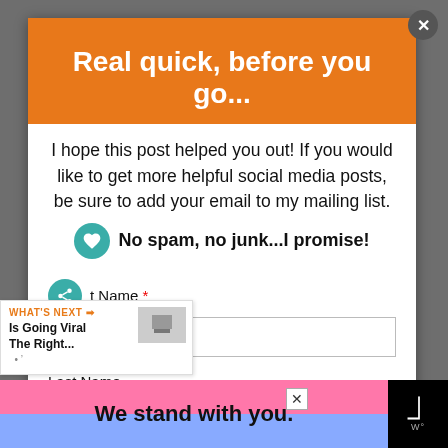[Figure (screenshot): Modal popup overlay on a webpage with orange banner, body text, form fields, a 'What's Next' widget, and a bottom ad bar saying 'We stand with you.']
Real quick, before you go...
I hope this post helped you out! If you would like to get more helpful social media posts, be sure to add your email to my mailing list.
No spam, no junk...I promise!
t Name *
Last Name
WHAT'S NEXT → Is Going Viral The Right...
We stand with you.